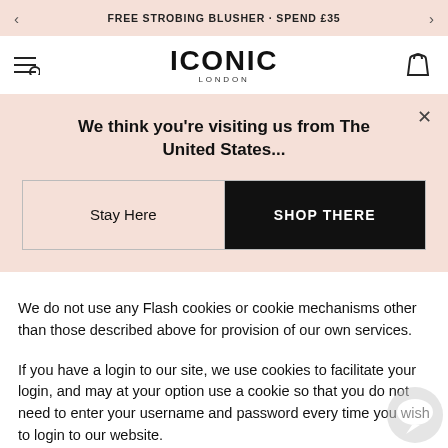FREE STROBING BLUSHER · SPEND £35
[Figure (logo): Iconic London logo with navigation icons]
We think you're visiting us from The United States...
Stay Here | SHOP THERE
We do not use any Flash cookies or cookie mechanisms other than those described above for provision of our own services.
If you have a login to our site, we use cookies to facilitate your login, and may at your option use a cookie so that you do not need to enter your username and password every time you wish to login to our website.